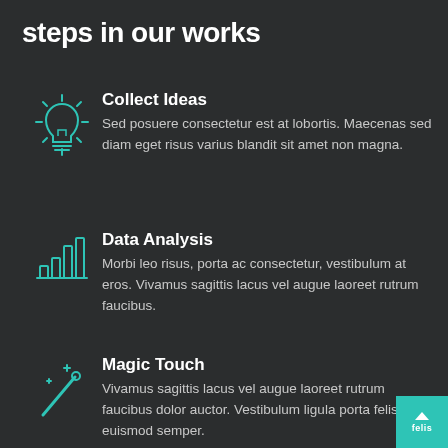steps in our works
Collect Ideas
Sed posuere consectetur est at lobortis. Maecenas sed diam eget risus varius blandit sit amet non magna.
Data Analysis
Morbi leo risus, porta ac consectetur, vestibulum at eros. Vivamus sagittis lacus vel augue laoreet rutrum faucibus.
Magic Touch
Vivamus sagittis lacus vel augue laoreet rutrum faucibus dolor auctor. Vestibulum ligula porta felis euismod semper.